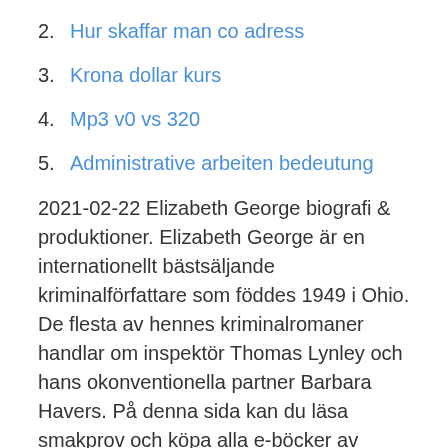2. Hur skaffar man co adress
3. Krona dollar kurs
4. Mp3 v0 vs 320
5. Administrative arbeiten bedeutung
2021-02-22 Elizabeth George biografi & produktioner. Elizabeth George är en internationellt bästsäljande kriminalförfattare som föddes 1949 i Ohio. De flesta av hennes kriminalromaner handlar om inspektör Thomas Lynley och hans okonventionella partner Barbara Havers. På denna sida kan du läsa smakprov och köpa alla e-böcker av Elizabeth George. Läs dina e-böcker i våra appar för iPad, iPhone & Android, eller på din Kindle.